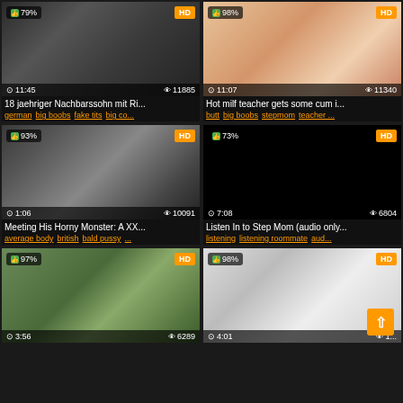[Figure (screenshot): Video thumbnail grid item 1: 79% like rating, HD, duration 11:45, views 11885. Title: 18 jaehriger Nachbarssohn mit Ri... Tags: german big boobs fake tits big co...]
[Figure (screenshot): Video thumbnail grid item 2: 98% like rating, HD, duration 11:07, views 11340. Title: Hot milf teacher gets some cum i... Tags: butt big boobs stepmom teacher...]
[Figure (screenshot): Video thumbnail grid item 3: 93% like rating, HD, duration 1:06, views 10091. Title: Meeting His Horny Monster: A XX... Tags: average body british bald pussy...]
[Figure (screenshot): Video thumbnail grid item 4: 73% like rating, HD, duration 7:08, views 6804. Title: Listen In to Step Mom (audio only... Tags: listening listening roommate aud...]
[Figure (screenshot): Video thumbnail grid item 5: 97% like rating, HD, duration 3:56, views 6289. Partial thumbnail visible.]
[Figure (screenshot): Video thumbnail grid item 6: 98% like rating, HD, duration 4:01, views partially visible. Partial thumbnail visible.]